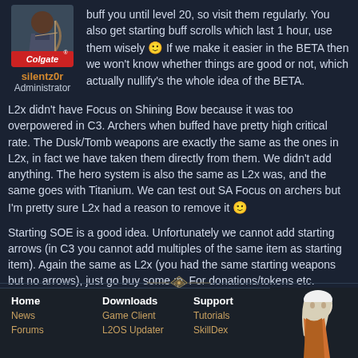[Figure (illustration): Avatar image of user silentz0r with Colgate logo overlay]
buff you until level 20, so visit them regularly. You also get starting buff scrolls which last 1 hour, use them wisely 🙂 If we make it easier in the BETA then we won't know whether things are good or not, which actually nullify's the whole idea of the BETA.
silentz0r
Administrator
L2x didn't have Focus on Shining Bow because it was too overpowered in C3. Archers when buffed have pretty high critical rate. The Dusk/Tomb weapons are exactly the same as the ones in L2x, in fact we have taken them directly from them. We didn't add anything. The hero system is also the same as L2x was, and the same goes with Titanium. We can test out SA Focus on archers but I'm pretty sure L2x had a reason to remove it 🙂
Starting SOE is a good idea. Unfortunately we cannot add starting arrows (in C3 you cannot add multiples of the same item as starting item). Again the same as L2x (you had the same starting weapons but no arrows), just go buy some :p. For donations/tokens etc. please send emails/PMs.
Home  Downloads  Support  Meta
News  Game Client  Tutorials  RSS
Forums  L2OS Updater  SkillDex  RSS